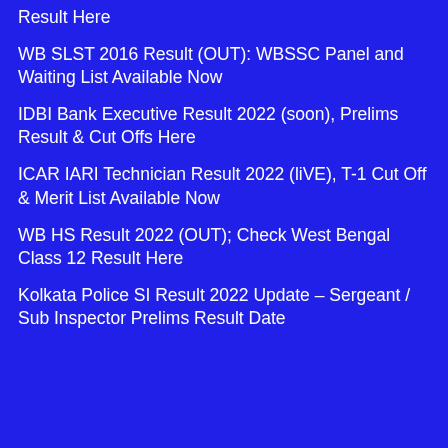Result Here
WB SLST 2016 Result (OUT): WBSSC Panel and Waiting List Available Now
IDBI Bank Executive Result 2022 (soon), Prelims Result & Cut Offs Here
ICAR IARI Technician Result 2022 (liVE), T-1 Cut Off & Merit List Available Now
WB HS Result 2022 (OUT); Check West Bengal Class 12 Result Here
Kolkata Police SI Result 2022 Update – Sergeant / Sub Inspector Prelims Result Date